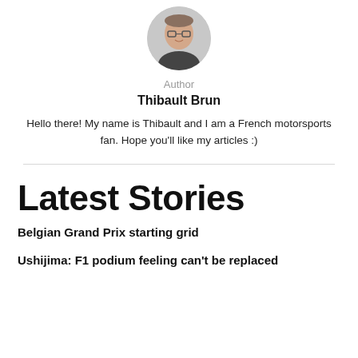[Figure (photo): Circular avatar photo of author Thibault Brun, a young person wearing glasses and a dark top, shown from shoulders up against a light background.]
Author
Thibault Brun
Hello there! My name is Thibault and I am a French motorsports fan. Hope you'll like my articles :)
Latest Stories
Belgian Grand Prix starting grid
Ushijima: F1 podium feeling can't be replaced